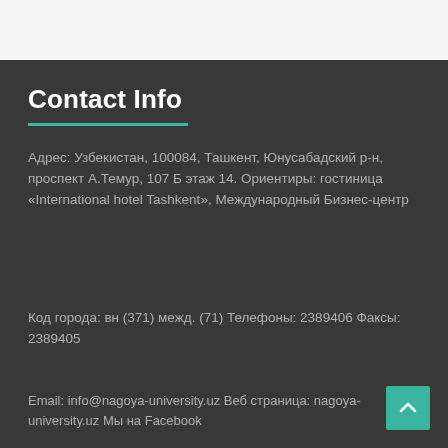Contact Info
Адрес: Узбекистан, 100084, Ташкент, Юнусабадский р-н, проспект А.Темур, 107 Б этаж 14. Ориентиры: гостиница «International hotel Tashkent», Международный Бизнес-центр
Код города: вн (371) межд. (71) Телефоны: 2389406 Факсы: 2389405
Email: info@nagoya-university.uz Веб страница: nagoya-university.uz Мы на Facebook